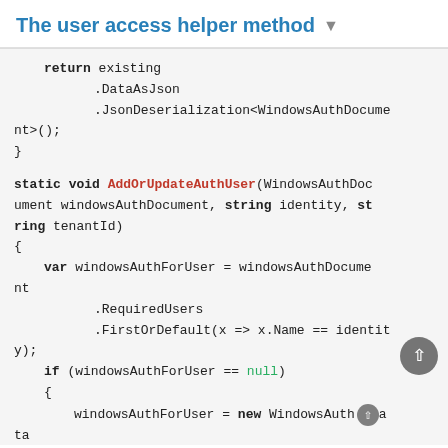The user access helper method
[Figure (screenshot): Code snippet showing C# static method AddOrUpdateAuthUser with WindowsAuthDocument, including return statement with DataAsJson and JsonDeserialization, variable windowsAuthForUser assigned via RequiredUsers.FirstOrDefault, null check, and new WindowsAuthData object initialization with Name = identity.]